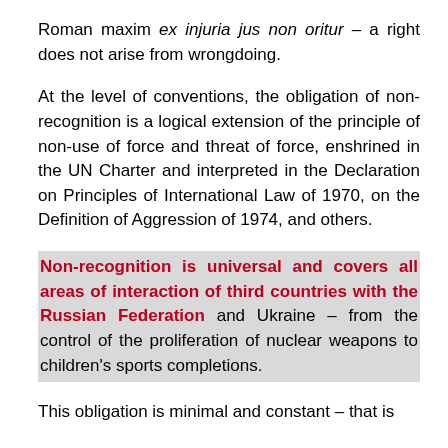Roman maxim ex injuria jus non oritur – a right does not arise from wrongdoing.
At the level of conventions, the obligation of non-recognition is a logical extension of the principle of non-use of force and threat of force, enshrined in the UN Charter and interpreted in the Declaration on Principles of International Law of 1970, on the Definition of Aggression of 1974, and others.
Non-recognition is universal and covers all areas of interaction of third countries with the Russian Federation and Ukraine – from the control of the proliferation of nuclear weapons to children's sports completions.
This obligation is minimal and constant – that is